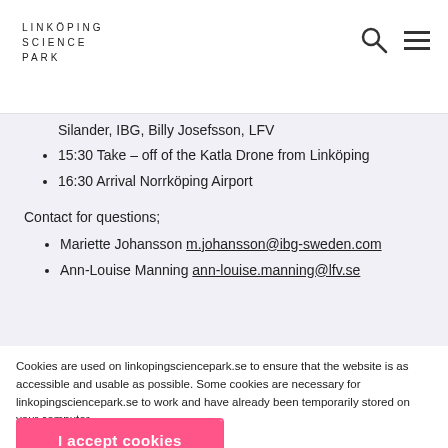LINKÖPING SCIENCE PARK
Silander, IBG, Billy Josefsson, LFV
15:30 Take – off of the Katla Drone from Linköping
16:30 Arrival Norrköping Airport
Contact for questions;
Mariette Johansson m.johansson@ibg-sweden.com
Ann-Louise Manning ann-louise.manning@lfv.se
Cookies are used on linkopingsciencepark.se to ensure that the website is as accessible and usable as possible. Some cookies are necessary for linkopingsciencepark.se to work and have already been temporarily stored on your computer.
I accept cookies